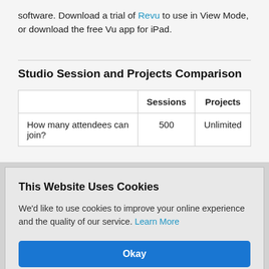software. Download a trial of Revu to use in View Mode, or download the free Vu app for iPad.
Studio Session and Projects Comparison
|  | Sessions | Projects |
| --- | --- | --- |
| How many attendees can join? | 500 | Unlimited |
This Website Uses Cookies
We'd like to use cookies to improve your online experience and the quality of our service. Learn More
Okay
No, thanks
| be? |  | each |